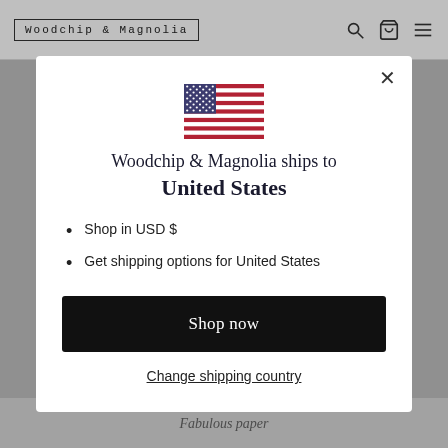Woodchip & Magnolia
[Figure (screenshot): US flag emoji/icon centered at top of modal]
Woodchip & Magnolia ships to United States
Shop in USD $
Get shipping options for United States
Shop now
Change shipping country
Fabulous paper